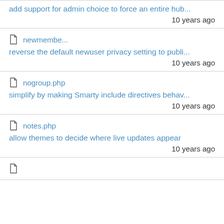add support for admin choice to force an entire hub...
10 years ago
newmembe...
reverse the default newuser privacy setting to publi...
10 years ago
nogroup.php
simplify by making Smarty include directives behav...
10 years ago
notes.php
allow themes to decide where live updates appear
10 years ago
(partial)